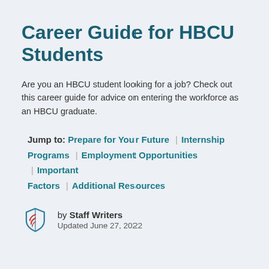Career Guide for HBCU Students
Are you an HBCU student looking for a job? Check out this career guide for advice on entering the workforce as an HBCU graduate.
Jump to: Prepare for Your Future | Internship Programs | Employment Opportunities | Important Factors | Additional Resources
by Staff Writers
Updated June 27, 2022